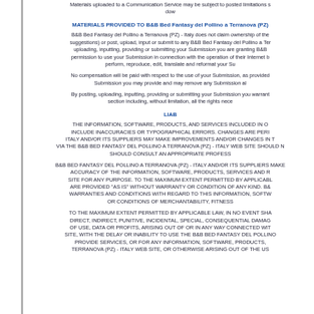Materials uploaded to a Communication Service may be subject to posted limitations s dow
MATERIALS PROVIDED TO B&B Bed Fantasy del Pollino a Terranova (PZ)
B&B Bed Fantasy del Pollino a Terranova (PZ) - Italy does not claim ownership of the suggestions) or post, upload, input or submit to any B&B Bed Fantasy del Pollino a Ter uploading, inputting, providing or submitting your Submission you are granting B&B permission to use your Submission in connection with the operation of their Internet b perform, reproduce, edit, translate and reformat your Su
No compensation will be paid with respect to the use of your Submission, as provided Submission you may provide and may remove any Submission al
By posting, uploading, inputting, providing or submitting your Submission you warrant section including, without limitation, all the rights nece
LIAB
THE INFORMATION, SOFTWARE, PRODUCTS, AND SERVICES INCLUDED IN O INCLUDE INACCURACIES OR TYPOGRAPHICAL ERRORS. CHANGES ARE PERI Italy AND/OR ITS SUPPLIERS MAY MAKE IMPROVEMENTS AND/OR CHANGES IN T VIA THE B&B Bed Fantasy del Pollino a Terranova (PZ) - Italy WEB SITE SHOULD N SHOULD CONSULT AN APPROPRIATE PROFESS
B&B Bed Fantasy del Pollino a Terranova (PZ) - Italy AND/OR ITS SUPPLIERS MAKE ACCURACY OF THE INFORMATION, SOFTWARE, PRODUCTS, SERVICES AND R SITE FOR ANY PURPOSE. TO THE MAXIMUM EXTENT PERMITTED BY APPLICABL ARE PROVIDED "AS IS" WITHOUT WARRANTY OR CONDITION OF ANY KIND. B& WARRANTIES AND CONDITIONS WITH REGARD TO THIS INFORMATION, SOFTW OR CONDITIONS OF MERCHANTABILITY, FITNESS
TO THE MAXIMUM EXTENT PERMITTED BY APPLICABLE LAW, IN NO EVENT SHA DIRECT, INDIRECT, PUNITIVE, INCIDENTAL, SPECIAL, CONSEQUENTIAL DAMAG OF USE, DATA OR PROFITS, ARISING OUT OF OR IN ANY WAY CONNECTED WIT SITE, WITH THE DELAY OR INABILITY TO USE THE B&B Bed Fantasy del Pollino PROVIDE SERVICES, OR FOR ANY INFORMATION, SOFTWARE, PRODUCTS, Terranova (PZ) - Italy WEB SITE, OR OTHERWISE ARISING OUT OF THE US